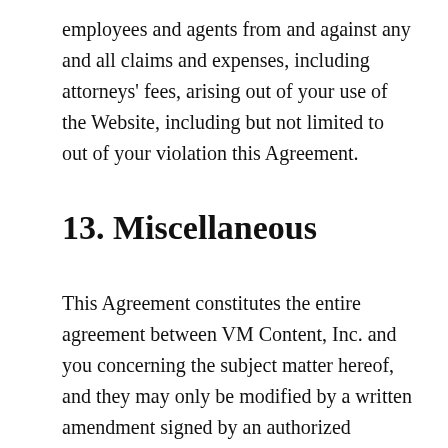employees and agents from and against any and all claims and expenses, including attorneys' fees, arising out of your use of the Website, including but not limited to out of your violation this Agreement.
13. Miscellaneous
This Agreement constitutes the entire agreement between VM Content, Inc. and you concerning the subject matter hereof, and they may only be modified by a written amendment signed by an authorized executive of VM Content, Inc., or by the posting by VM Content, Inc. of a revised version. Except to the extent